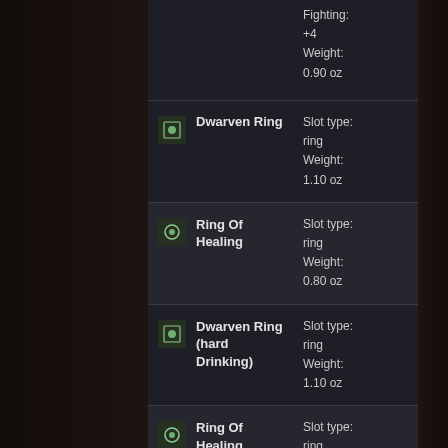Fighting: +4
Weight: 0.90 oz
Dwarven Ring
Slot type: ring
Weight: 1.10 oz
Ring Of Healing
Slot type: ring
Weight: 0.80 oz
Dwarven Ring (hard Drinking)
Slot type: ring
Weight: 1.10 oz
Ring Of Healing (faster Regeneration)
Slot type: ring
Weight: 0.80 oz